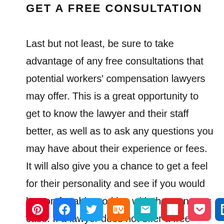GET A FREE CONSULTATION
Last but not least, be sure to take advantage of any free consultations that potential workers' compensation lawyers may offer. This is a great opportunity to get to know the lawyer and their staff better, as well as to ask any questions you may have about their experience or fees. It will also give you a chance to get a feel for their personality and see if you would be comfortable working with them on your case. If a lawyer does not offer a free consultation, or if they seem hesitant
[Figure (infographic): Row of social media share buttons: Pinterest, Facebook, Twitter, Mix, Email, Flipboard, Pocket, LinkedIn, Reddit]